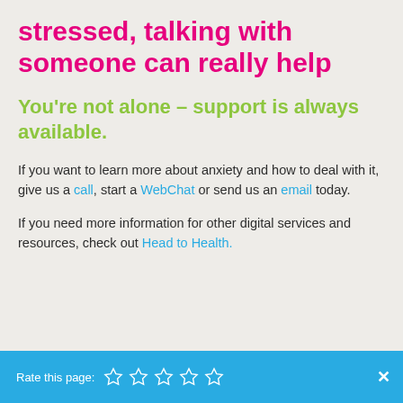stressed, talking with someone can really help
You’re not alone – support is always available.
If you want to learn more about anxiety and how to deal with it, give us a call, start a WebChat or send us an email today.
If you need more information for other digital services and resources, check out Head to Health.
Rate this page: